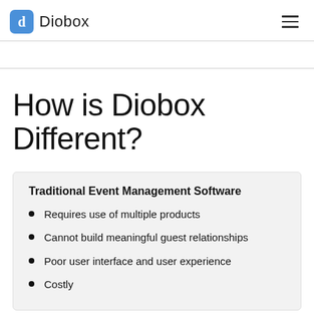Diobox
How is Diobox Different?
Traditional Event Management Software
Requires use of multiple products
Cannot build meaningful guest relationships
Poor user interface and user experience
Costly